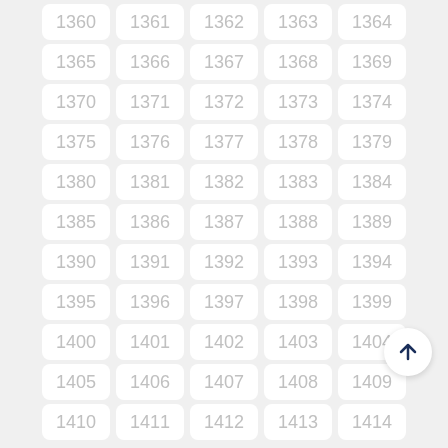[Figure (other): Grid of numbered cells from 1360 to 1414 arranged in rows of 5, with a scroll-to-top button in the bottom right corner.]